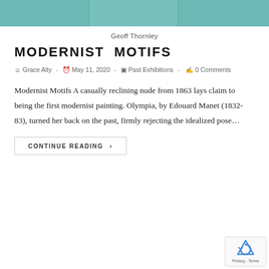[Figure (photo): Teal/turquoise painted wall or surface divided into three panels by vertical lines, serving as a header image for the blog post.]
Geoff Thornley
MODERNIST MOTIFS
Grace Alty  -  May 11, 2020  -  Past Exhibitions  -  0 Comments
Modernist Motifs A casually reclining nude from 1863 lays claim to being the first modernist painting. Olympia, by Edouard Manet (1832-83), turned her back on the past, firmly rejecting the idealized pose...
CONTINUE READING ›